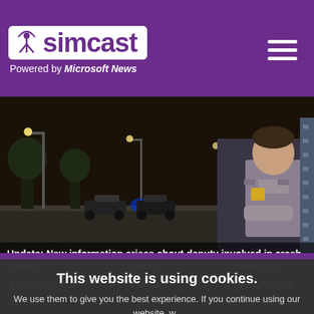simcast — Powered by Microsoft News
[Figure (photo): Nighttime scene of a road with police/emergency vehicle lights in the background (left side) and a sheriff deputy in uniform standing close-up on the right side.]
Update: New information arises about deputy involved in crash
This website is using cookies. We use them to give you the best experience. If you continue using our website, we will assume that you are happy to receive all cookies on this website.
Continue
Learn more
Money
Travel
Contact Us
Entertainment
Videos
Privacy Policy
Lifestyle
Sports
Terms of Use